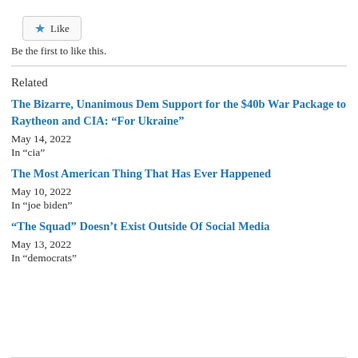[Figure (other): Like button with star icon]
Be the first to like this.
Related
The Bizarre, Unanimous Dem Support for the $40b War Package to Raytheon and CIA: “For Ukraine”
May 14, 2022
In „cia”
The Most American Thing That Has Ever Happened
May 10, 2022
In “joe biden”
“The Squad” Doesn’t Exist Outside Of Social Media
May 13, 2022
In “democrats”